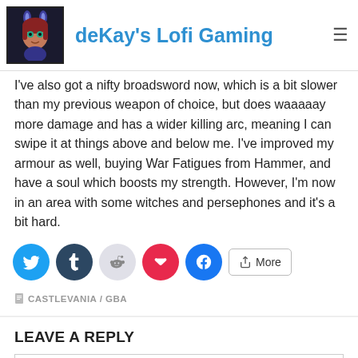deKay's Lofi Gaming
I've also got a nifty broadsword now, which is a bit slower than my previous weapon of choice, but does waaaaay more damage and has a wider killing arc, meaning I can swipe it at things above and below me. I've improved my armour as well, buying War Fatigues from Hammer, and have a soul which boosts my strength. However, I'm now in an area with some witches and persephones and it's a bit hard.
[Figure (other): Social share buttons row: Twitter (blue), Tumblr (dark), Reddit (light grey), Pocket (red), Facebook (blue), and a More button]
CASTLEVANIA / GBA
LEAVE A REPLY